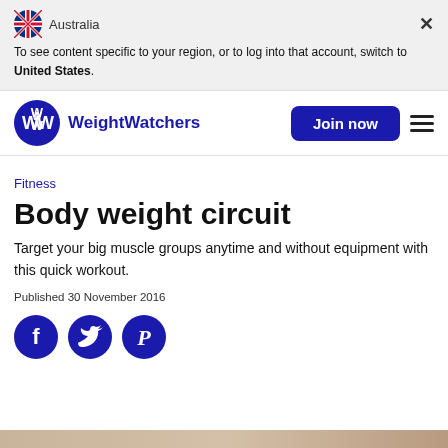Australia  To see content specific to your region, or to log into that account, switch to United States.
[Figure (logo): WeightWatchers WW logo circle in dark blue with white WW letters, and brand name WeightWatchers in blue text]
Join now
Fitness
Body weight circuit
Target your big muscle groups anytime and without equipment with this quick workout.
Published 30 November 2016
[Figure (illustration): Social media share icons: Facebook (f), Twitter (bird), Pinterest (P) - dark navy circles]